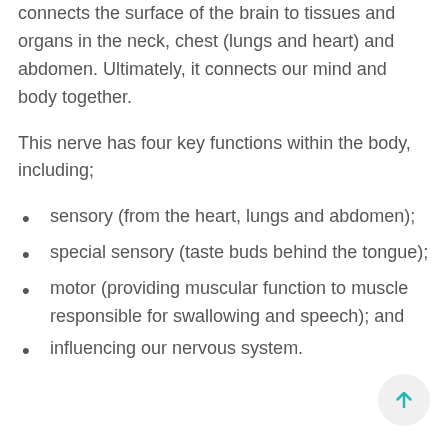connects the surface of the brain to tissues and organs in the neck, chest (lungs and heart) and abdomen. Ultimately, it connects our mind and body together.
This nerve has four key functions within the body, including;
sensory (from the heart, lungs and abdomen);
special sensory (taste buds behind the tongue);
motor (providing muscular function to muscle responsible for swallowing and speech); and
influencing our nervous system.